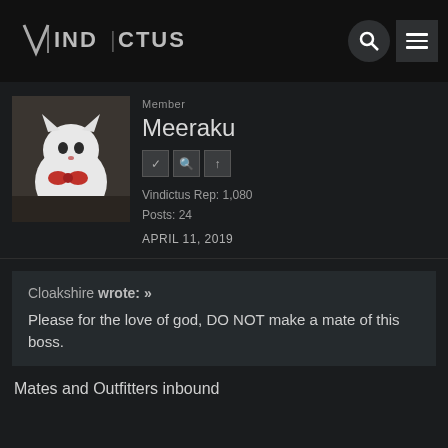VINDICTUS
Member
Meeraku
Vindictus Rep: 1,080
Posts: 24
APRIL 11, 2019
Cloakshire wrote: »
Please for the love of god, DO NOT make a mate of this boss.
Mates and Outfitters inbound
Member
Daimus